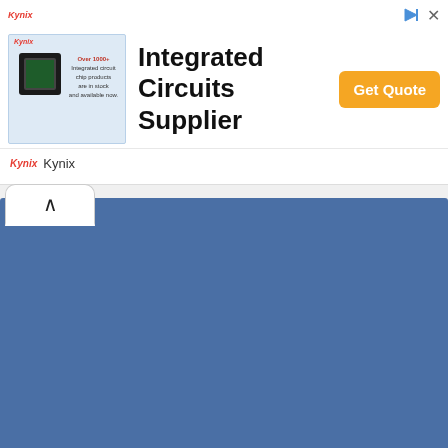[Figure (screenshot): Kynix advertisement banner for Integrated Circuits Supplier with chip image, Get Quote button, and Kynix logo at bottom]
[Figure (screenshot): Blue collapsed panel area with up-chevron tab at top left]
“Great Kingdom” was a kingdom said to be
Advertising